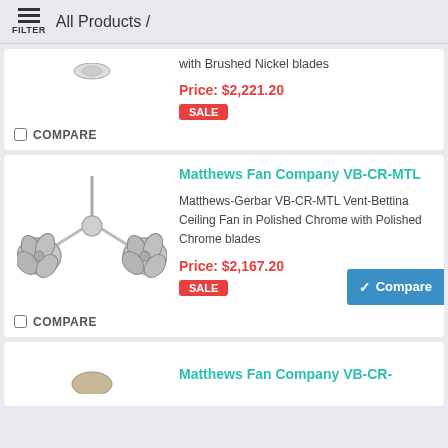All Products
with Brushed Nickel blades
Price: $2,221.20
SALE
COMPARE
Matthews Fan Company VB-CR-MTL
Matthews-Gerbar VB-CR-MTL Vent-Bettina Ceiling Fan in Polished Chrome with Polished Chrome blades
Price: $2,167.20
SALE
Compare
COMPARE